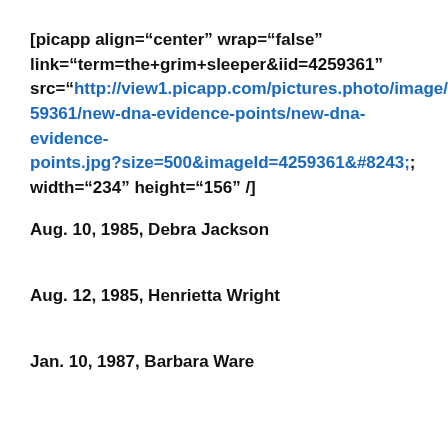[picapp align="center" wrap="false" link="term=the+grim+sleeper&iid=4259361" src="http://view1.picapp.com/pictures.photo/image/4259361/new-dna-evidence-points/new-dna-evidence-points.jpg?size=500&imageId=4259361&#8243; width="234" height="156" /]
Aug. 10, 1985, Debra Jackson
Aug. 12, 1985, Henrietta Wright
Jan. 10, 1987, Barbara Ware